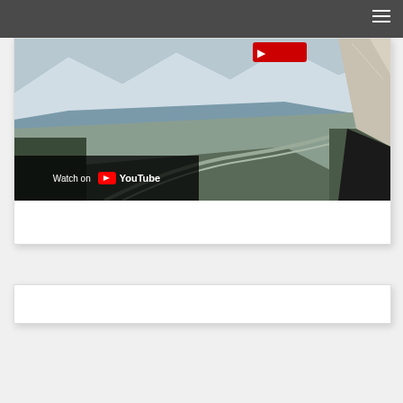Navigation bar with hamburger menu
[Figure (screenshot): YouTube video embed showing aerial winter landscape view from small aircraft cockpit with snowy mountains below. Overlay shows 'Watch on YouTube' with YouTube logo in bottom-left corner and red play button in top-right area.]
[Figure (screenshot): Empty white card/embed container below the video]